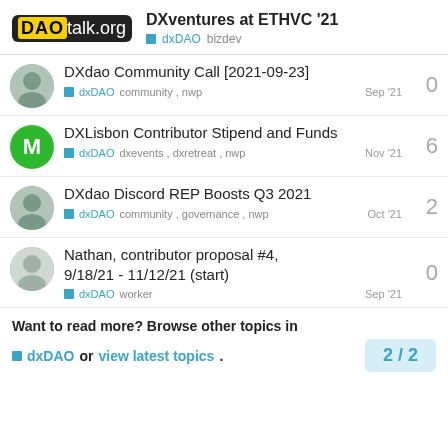DAOtalk.org — DXventures at ETHVC '21 — dxDAO bizdev
DXdao Community Call [2021-09-23] — dxDAO, community, nwp — Sep '21 — 0 replies
DXLisbon Contributor Stipend and Funds — dxDAO, dxevents, dxretreat, nwp — Nov '21 — 6 replies
DXdao Discord REP Boosts Q3 2021 — dxDAO, community, governance, nwp — Oct '21 — 2 replies
Nathan, contributor proposal #4, 9/18/21 - 11/12/21 (start) — dxDAO, worker — Sep '21 — 0 replies
Want to read more? Browse other topics in dxDAO or view latest topics. 2 / 2